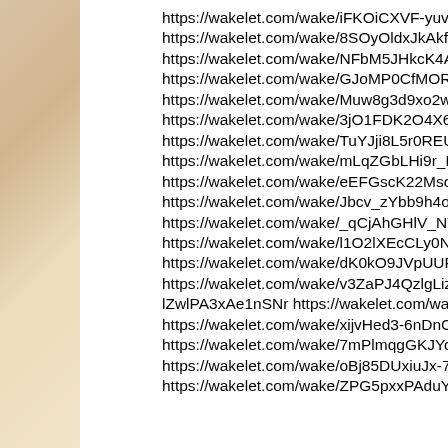https://wakelet.com/wake/iFKOiCXVF-yuv_IKelDrl
https://wakelet.com/wake/8SOyOldxJkAkfXFwYlmH3
https://wakelet.com/wake/NFbM5JHkcK4A-ua44dDli
https://wakelet.com/wake/GJoMP0CfMORL8ciwVCpo
https://wakelet.com/wake/Muw8g3d9xo2wRrl4D9lEk
https://wakelet.com/wake/3jO1FDK2O4X6eisf6c0v6
https://wakelet.com/wake/TuYJji8L5r0REUQqXMbxa
https://wakelet.com/wake/mLqZGbLHi9r_FjyShGEd8
https://wakelet.com/wake/eEFGscK22MsoDhCcML3u
https://wakelet.com/wake/Jbcv_zYbb9h4oO7K2Pt0k
https://wakelet.com/wake/_qCjAhGHlV_NTBJmRgc7Y
https://wakelet.com/wake/l1O2lXEcCLy0NGkeMJMPZ
https://wakelet.com/wake/dK0kO9JVpUUFA8rWlZTuh
https://wakelet.com/wake/v3ZaPJ4QzlgLizNvtD_1G h
lZwlPA3xAe1nSNr https://wakelet.com/wake/Auh-LXh
https://wakelet.com/wake/xijvHed3-6nDnChKzgTRB
https://wakelet.com/wake/7mPlmqgGKJYq2pbDhvwJ
https://wakelet.com/wake/oBj85DUxiuJx-7fiLSlQ8
https://wakelet.com/wake/ZPG5pxxPAduY_lL8kHlom